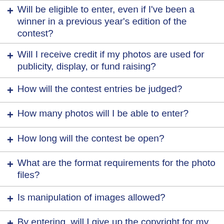+ Will be eligible to enter, even if I've been a winner in a previous year's edition of the contest?
+ Will I receive credit if my photos are used for publicity, display, or fund raising?
+ How will the contest entries be judged?
+ How many photos will I be able to enter?
+ How long will the contest be open?
+ What are the format requirements for the photo files?
+ Is manipulation of images allowed?
+ By entering, will I give up the copyright for my photo?
+ When will the winners be announced?
+ What if I have a question not answered above?